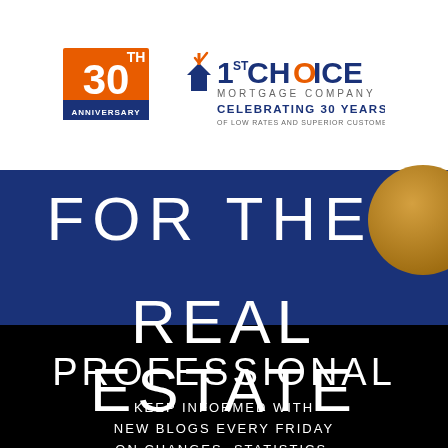[Figure (logo): 1st Choice Mortgage Company 30th Anniversary logo. Orange square badge with '30TH ANNIVERSARY' text, next to '1ST CHOICE' mortgage company branding with tagline 'CELEBRATING 30 YEARS OF LOW RATES AND SUPERIOR CUSTOMER SERVICE']
FOR THE REAL ESTATE PROFESSIONAL
KEEP INFORMED WITH NEW BLOGS EVERY FRIDAY ON CHANGES, STATISTICS, RATES, AND MORE